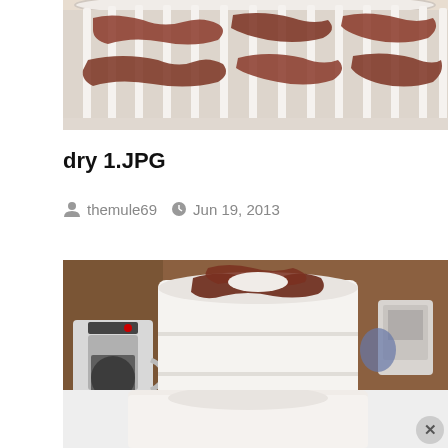[Figure (photo): Close-up photo of meat strips drying on a white dehydrator tray rack]
dry 1.JPG
themule69  Jun 19, 2013
[Figure (photo): Photo of a white food dehydrator stacked with multiple trays containing meat, sitting on a kitchen counter next to a coffee maker; navigation up/down arrows visible in bottom right]
[Figure (photo): Partial bottom photo strip showing white dehydrator tray from below]